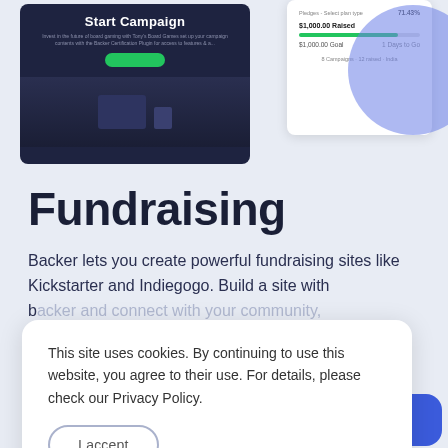[Figure (screenshot): Screenshot of a 'Start Campaign' page with dark navy background and a monitor illustration, alongside a fundraising campaign progress card showing $1,000.00 raised toward a $1,000.00 goal with a green progress bar]
Fundraising
Backer lets you create powerful fundraising sites like Kickstarter and Indiegogo. Build a site with b... c... p...
This site uses cookies. By continuing to use this website, you agree to their use. For details, please check our Privacy Policy.
Raise funds